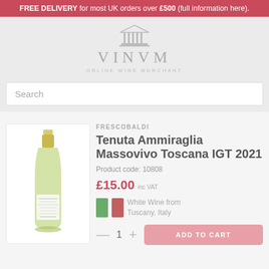FREE DELIVERY for most UK orders over £500 (full information here).
[Figure (logo): VINVM Online Wine Merchant logo with classical temple/column icon above text]
Search
FRESCOBALDI
Tenuta Ammiraglia Massovivo Toscana IGT 2021
Product code: 10808
£15.00 inc VAT
White Wine from Tuscany, Italy
[Figure (photo): Bottle of Frescobaldi Tenuta Ammiraglia Massovivo white wine, green glass with gold foil cap and white label]
— 1 + ADD TO CART